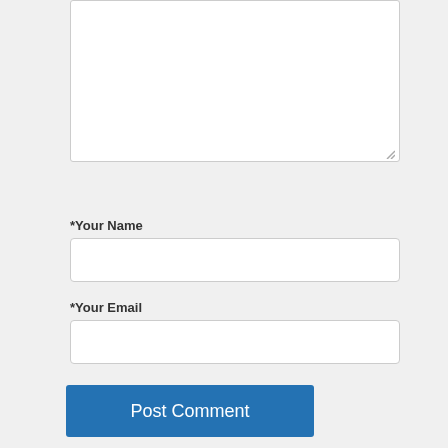[Figure (screenshot): Textarea input box (partially shown at top of page)]
*Your Name
[Figure (screenshot): Text input field for Your Name]
*Your Email
[Figure (screenshot): Text input field for Your Email]
[Figure (screenshot): Post Comment button (blue)]
[Figure (screenshot): Search input box with Search button]
[Figure (screenshot): Profile card with circular avatar photo (person with green background), partially visible at bottom]